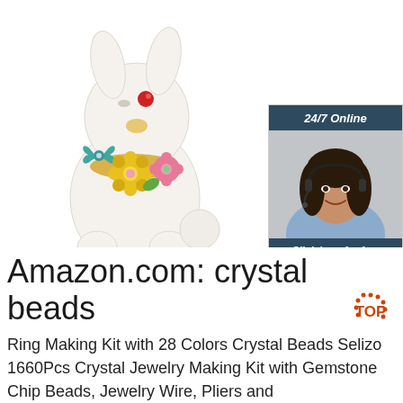[Figure (photo): White enamel cat/bunny brooch jewelry piece decorated with colorful flowers (yellow, pink) and a teal bow, with a red crystal eye and gold accents, displayed on white background]
[Figure (photo): Customer service widget: dark teal header reading '24/7 Online', photo of smiling woman with headset, dark teal footer with italic text 'Click here for free chat!', orange button reading 'QUOTATION']
Amazon.com: crystal beads
Ring Making Kit with 28 Colors Crystal Beads Selizo 1660Pcs Crystal Jewelry Making Kit with Gemstone Chip Beads, Jewelry Wire, Pliers and